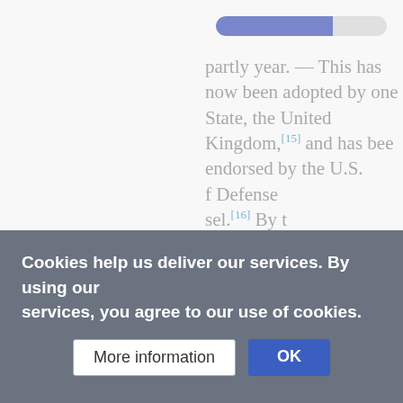[Figure (screenshot): Wikipedia page loading with a progress bar (blue/grey pill shape) in the upper right area]
partly year. This has now been adopted by one State, the United Kingdom,[15] and has been endorsed by the U.S. [if Defense] sel.[16] By [t] [her operation] sovereign[ty] [ernational la] although they may constitute prohibited
[Figure (screenshot): Error dialog box: 'Error contacting the Parsoid/RESTBase server: (curl error: 28) Timeout was reached' with Cancel and Try again buttons]
Cookies help us deliver our services. By using our services, you agree to our use of cookies.